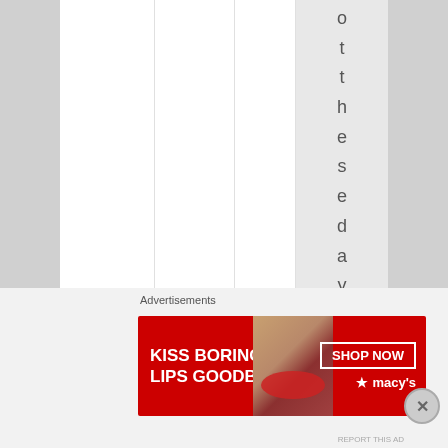[Figure (screenshot): A webpage screenshot showing a multi-column layout with a gray sidebar column containing vertical rotated text reading 'othesedays— youkno' (partial visible). The main area has white columns separated by light dividers. At the bottom is an advertisement section with a Macy's lip product banner reading 'KISS BORING LIPS GOODBYE' with a 'SHOP NOW' button, and a red and model photo advertisement.]
o t t h e s e d a y s — y o u k n o
Advertisements
[Figure (photo): Macy's advertisement banner. Red background with white text 'KISS BORING LIPS GOODBYE', a photo of a woman's face/lips, a 'SHOP NOW' button with white border, and the Macy's star logo.]